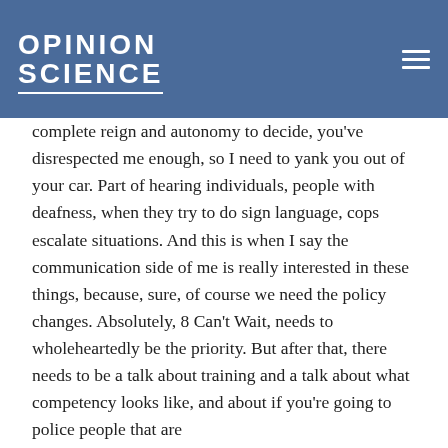OPINION SCIENCE
complete reign and autonomy to decide, you've disrespected me enough, so I need to yank you out of your car. Part of hearing individuals, people with deafness, when they try to do sign language, cops escalate situations. And this is when I say the communication side of me is really interested in these things, because, sure, of course we need the policy changes. Absolutely, 8 Can't Wait, needs to wholeheartedly be the priority. But after that, there needs to be a talk about training and a talk about what competency looks like, and about if you're going to police people that are